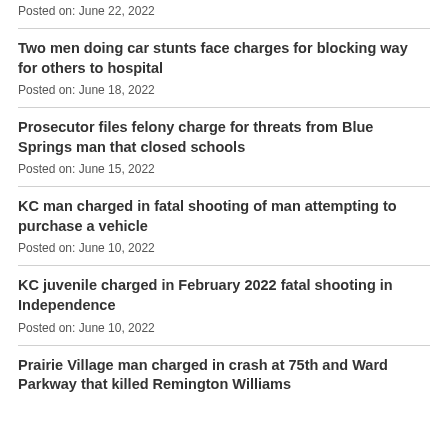Posted on: June 22, 2022
Two men doing car stunts face charges for blocking way for others to hospital
Posted on: June 18, 2022
Prosecutor files felony charge for threats from Blue Springs man that closed schools
Posted on: June 15, 2022
KC man charged in fatal shooting of man attempting to purchase a vehicle
Posted on: June 10, 2022
KC juvenile charged in February 2022 fatal shooting in Independence
Posted on: June 10, 2022
Prairie Village man charged in crash at 75th and Ward Parkway that killed Remington Williams